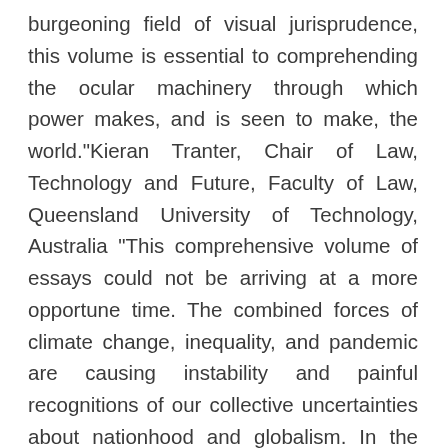burgeoning field of visual jurisprudence, this volume is essential to comprehending the ocular machinery through which power makes, and is seen to make, the world."Kieran Tranter, Chair of Law, Technology and Future, Faculty of Law, Queensland University of Technology, Australia "This comprehensive volume of essays could not be arriving at a more opportune time. The combined forces of climate change, inequality, and pandemic are causing instability and painful recognitions of our collective uncertainties about nationhood and globalism. In the United States, where I am writing these few lines, our traditional red/white/blue flag has